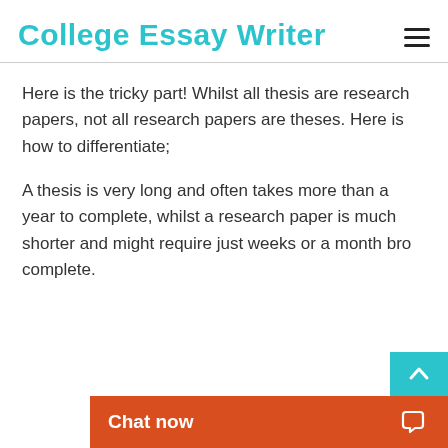College Essay Writer
Here is the tricky part! Whilst all thesis are research papers, not all research papers are theses. Here is how to differentiate;
A thesis is very long and often takes more than a year to complete, whilst a research paper is much shorter and might require just weeks or a month bro complete.